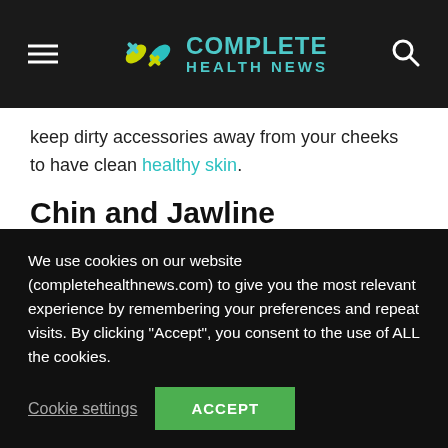Complete Health News
keep dirty accessories away from your cheeks to have clean healthy skin.
Chin and Jawline
Spots on the chin and jawline can mean hormonal imbalance and high stress. It probably means you are going to have issues with your menstrual cycle. Get enough sleep, reduce stress as much as possible, and exercise every day, it will
We use cookies on our website (completehealthnews.com) to give you the most relevant experience by remembering your preferences and repeat visits. By clicking “Accept”, you consent to the use of ALL the cookies.